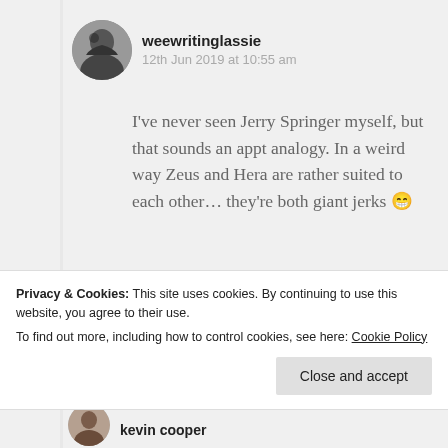[Figure (photo): Circular avatar photo of user weewritinglassie, dark/silhouetted figure against light background]
weewritinglassie
12th Jun 2019 at 10:55 am
I've never seen Jerry Springer myself, but that sounds an appt analogy. In a weird way Zeus and Hera are rather suited to each other… they're both giant jerks 😁
Privacy & Cookies: This site uses cookies. By continuing to use this website, you agree to their use.
To find out more, including how to control cookies, see here: Cookie Policy
Close and accept
[Figure (photo): Circular avatar photo of user kevin cooper]
kevin cooper